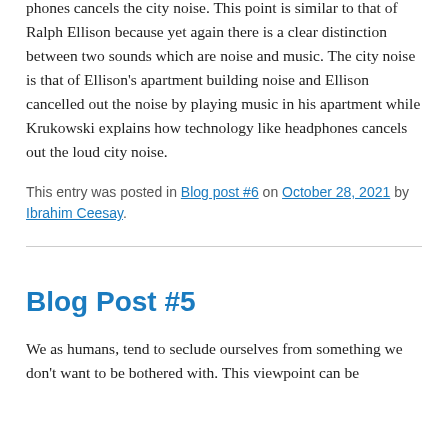phones cancels the city noise. This point is similar to that of Ralph Ellison because yet again there is a clear distinction between two sounds which are noise and music. The city noise is that of Ellison's apartment building noise and Ellison cancelled out the noise by playing music in his apartment while Krukowski explains how technology like headphones cancels out the loud city noise.
This entry was posted in Blog post #6 on October 28, 2021 by Ibrahim Ceesay.
Blog Post #5
We as humans, tend to seclude ourselves from something we don't want to be bothered with. This viewpoint can be